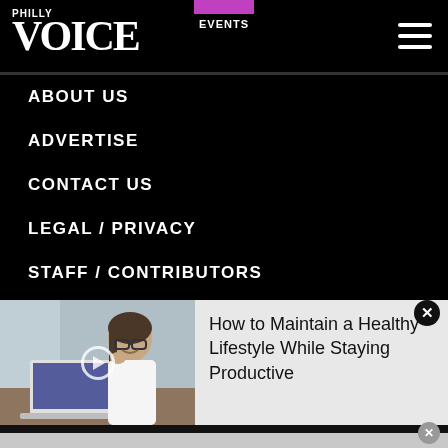PHILLY VOICE | EVENTS
ABOUT US
ADVERTISE
CONTACT US
LEGAL / PRIVACY
STAFF / CONTRIBUTORS
RSS
[Figure (photo): Woman with glasses smiling while working on laptop at desk, promotional banner image]
How to Maintain a Healthy Lifestyle While Staying Productive